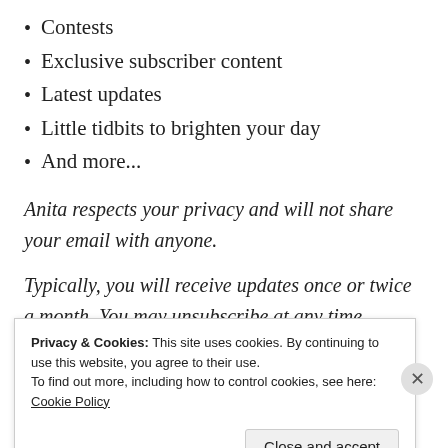Contests
Exclusive subscriber content
Latest updates
Little tidbits to brighten your day
And more...
Anita respects your privacy and will not share your email with anyone.
Typically, you will receive updates once or twice a month. You may unsubscribe at any time.
FOLLOW ANITA RODGERS BLOG VIA EMAIL
Privacy & Cookies: This site uses cookies. By continuing to use this website, you agree to their use.
To find out more, including how to control cookies, see here: Cookie Policy
Close and accept